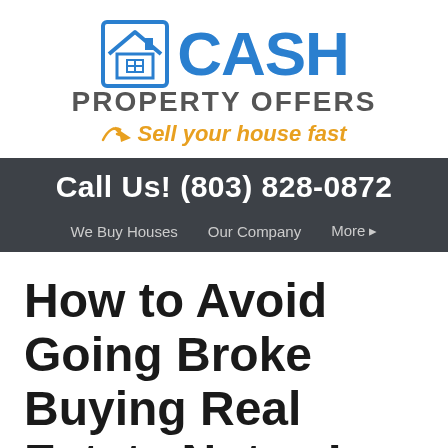[Figure (logo): Cash Property Offers logo with house icon, blue CASH text, gray PROPERTY OFFERS text, and orange arrow with 'Sell your house fast' tagline]
Call Us! (803) 828-0872
We Buy Houses   Our Company   More ▸
How to Avoid Going Broke Buying Real Estate Notes In 29201, 29202, 29203, 29204…